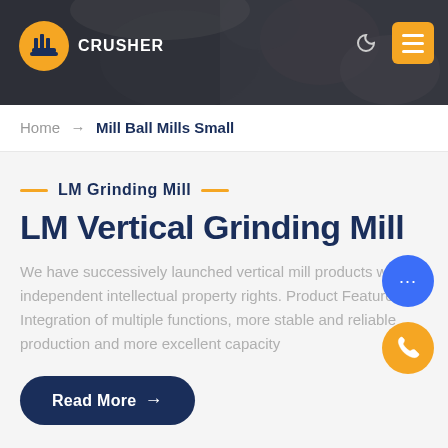[Figure (screenshot): Website header banner with dark rocky/industrial background, logo on left showing a gold helmet/bulldozer icon with text 'CRUSHER', moon icon and yellow hamburger menu button on right]
Home → Mill Ball Mills Small
LM Grinding Mill
LM Vertical Grinding Mill
We have successively launched vertical mill products with independent intellectual property rights. Product Features: Integration of multiple functions, more stable and reliable production and more excellent capacity
Read More →